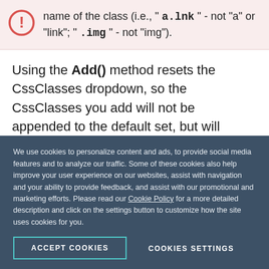name of the class (i.e., "a.lnk" - not "a" or "link"; ".img" - not "img").
Using the Add() method resets the CssClasses dropdown, so the CssClasses you add will not be appended to the default set, but will rather create a new CssClasses set. If the CssClasses collection is left empty, all available classes will be listed.
We use cookies to personalize content and ads, to provide social media features and to analyze our traffic. Some of these cookies also help improve your user experience on our websites, assist with navigation and your ability to provide feedback, and assist with our promotional and marketing efforts. Please read our Cookie Policy for a more detailed description and click on the settings button to customize how the site uses cookies for you.